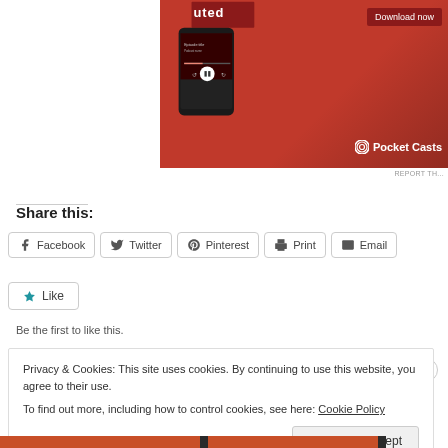[Figure (illustration): Pocket Casts app advertisement banner showing a smartphone with podcast app on red background, with 'Download now' button]
REPORT TH...
Share this:
Facebook  Twitter  Pinterest  Print  Email
Like
Be the first to like this.
Privacy & Cookies: This site uses cookies. By continuing to use this website, you agree to their use.
To find out more, including how to control cookies, see here: Cookie Policy
Close and accept